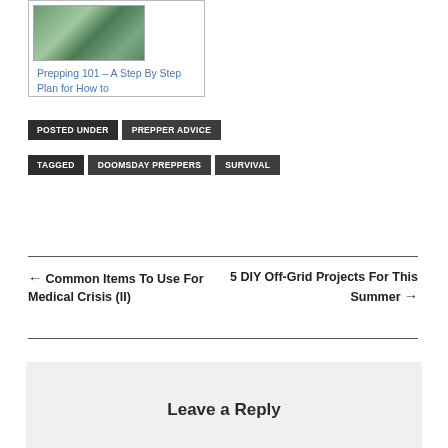[Figure (illustration): Thumbnail image of a plant/prepping book cover with blue link text below reading 'Prepping 101 – A Step By Step Plan for How to']
Prepping 101 – A Step By Step Plan for How to
POSTED UNDER   PREPPER ADVICE
TAGGED   DOOMSDAY PREPPERS   SURVIVAL
← Common Items To Use For Medical Crisis (II)
5 DIY Off-Grid Projects For This Summer →
Leave a Reply